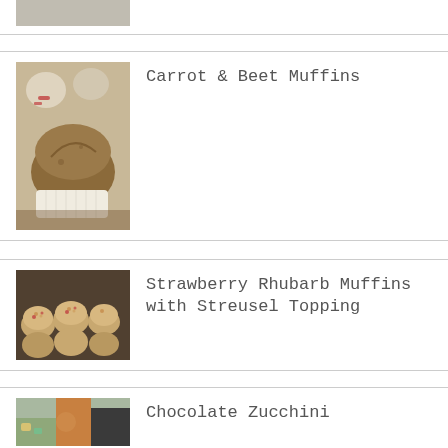[Figure (photo): Partial view of a food photo at top of page, cropped]
[Figure (photo): Carrot and beet muffins on a muffin tin, one split open showing interior]
Carrot & Beet Muffins
[Figure (photo): Strawberry rhubarb muffins with streusel topping on a baking tray]
Strawberry Rhubarb Muffins with Streusel Topping
[Figure (photo): Partial photo of Chocolate Zucchini item, cropped at bottom]
Chocolate Zucchini